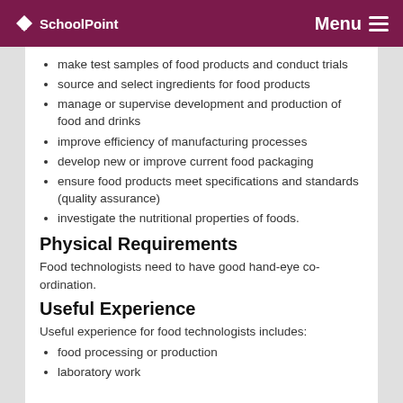SchoolPoint | Menu
make test samples of food products and conduct trials
source and select ingredients for food products
manage or supervise development and production of food and drinks
improve efficiency of manufacturing processes
develop new or improve current food packaging
ensure food products meet specifications and standards (quality assurance)
investigate the nutritional properties of foods.
Physical Requirements
Food technologists need to have good hand-eye co-ordination.
Useful Experience
Useful experience for food technologists includes:
food processing or production
laboratory work